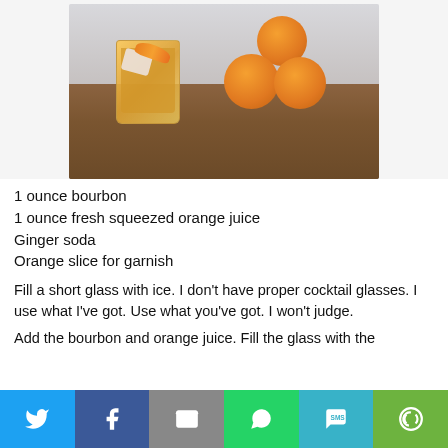[Figure (photo): A cocktail glass with amber drink and orange slice garnish on a wooden cutting board, with three oranges in the background]
1 ounce bourbon
1 ounce fresh squeezed orange juice
Ginger soda
Orange slice for garnish
Fill a short glass with ice. I don't have proper cocktail glasses. I use what I've got. Use what you've got. I won't judge.
Add the bourbon and orange juice. Fill the glass with the
[Figure (infographic): Social share bar with Twitter, Facebook, Email, WhatsApp, SMS, and More buttons]